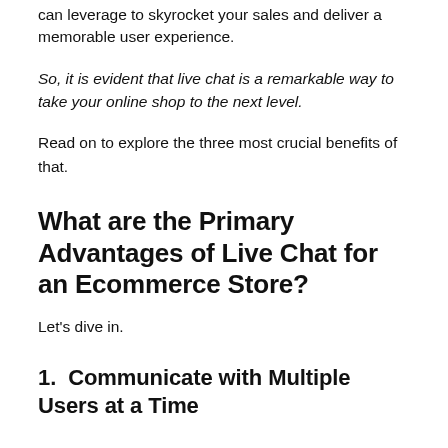can leverage to skyrocket your sales and deliver a memorable user experience.
So, it is evident that live chat is a remarkable way to take your online shop to the next level.
Read on to explore the three most crucial benefits of that.
What are the Primary Advantages of Live Chat for an Ecommerce Store?
Let's dive in.
1.  Communicate with Multiple Users at a Time